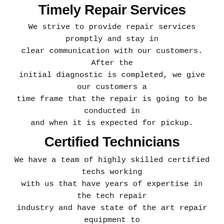Timely Repair Services
We strive to provide repair services promptly and stay in clear communication with our customers. After the initial diagnostic is completed, we give our customers a time frame that the repair is going to be conducted in and when it is expected for pickup.
Certified Technicians
We have a team of highly skilled certified techs working with us that have years of expertise in the tech repair industry and have state of the art repair equipment to get your devices fixed promptly.
Warranty Insured
We fo...